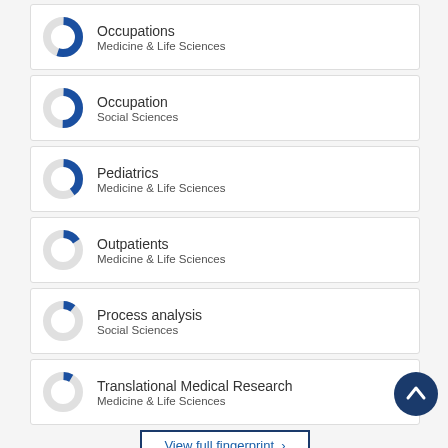[Figure (donut-chart): Donut chart ~55% filled blue]
Occupations
Medicine & Life Sciences
[Figure (donut-chart): Donut chart ~50% filled blue]
Occupation
Social Sciences
[Figure (donut-chart): Donut chart ~40% filled blue]
Pediatrics
Medicine & Life Sciences
[Figure (donut-chart): Donut chart ~15% filled blue]
Outpatients
Medicine & Life Sciences
[Figure (donut-chart): Donut chart ~10% filled blue]
Process analysis
Social Sciences
[Figure (donut-chart): Donut chart ~8% filled blue]
Translational Medical Research
Medicine & Life Sciences
View full fingerprint >